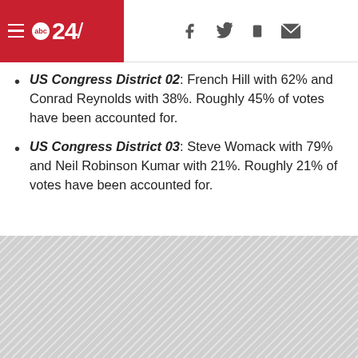abc24/ [navigation header with social icons]
US Congress District 02: French Hill with 62% and Conrad Reynolds with 38%. Roughly 45% of votes have been accounted for.
US Congress District 03: Steve Womack with 79% and Neil Robinson Kumar with 21%. Roughly 21% of votes have been accounted for.
[Figure (other): Grey hatched/crosshatched placeholder area at the bottom of the page]